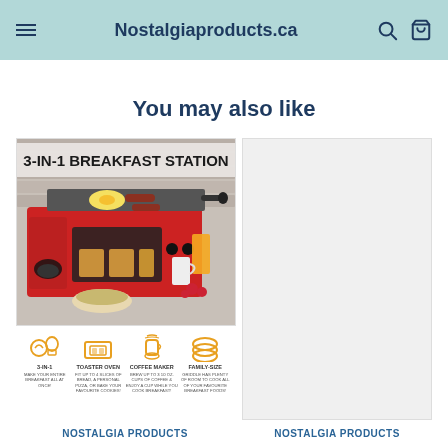Nostalgiaproducts.ca
You may also like
[Figure (photo): 3-in-1 Breakfast Station product image showing a red appliance with toaster oven, coffee maker, and griddle, with breakfast foods around it. Below are icons: 3-IN-1, TOASTER OVEN, COFFEE MAKER, FAMILY-SIZE with descriptions.]
[Figure (photo): Second product image placeholder (light gray box)]
NOSTALGIA PRODUCTS
NOSTALGIA PRODUCTS